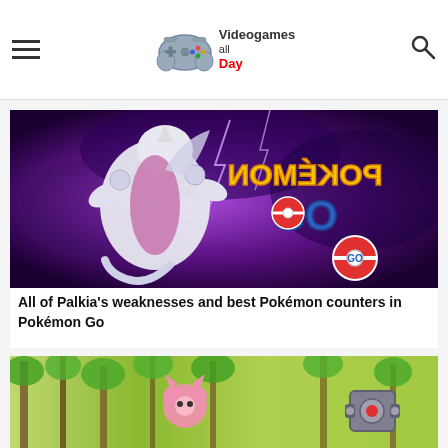Videogames all Day
[Figure (screenshot): Palkia from Pokemon GO against a purple stormy background with Pokemon GO logo]
All of Palkia's weaknesses and best Pokémon counters in Pokémon Go
[Figure (screenshot): Pokemon GO scene in a forest with pink and robotic Pokemon characters]